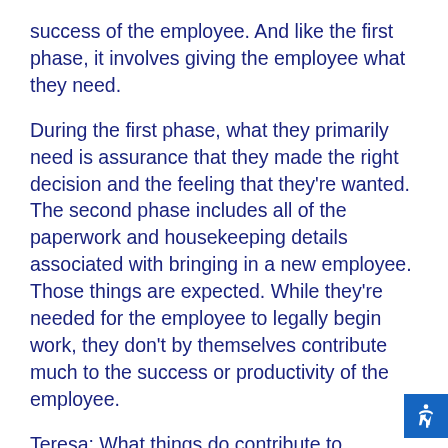success of the employee. And like the first phase, it involves giving the employee what they need.
During the first phase, what they primarily need is assurance that they made the right decision and the feeling that they're wanted. The second phase includes all of the paperwork and housekeeping details associated with bringing in a new employee. Those things are expected. While they're needed for the employee to legally begin work, they don't by themselves contribute much to the success or productivity of the employee.
Teresa: What things do contribute to productivity during the second phase of the onboarding process?
Stacy: You might be surprised to know that